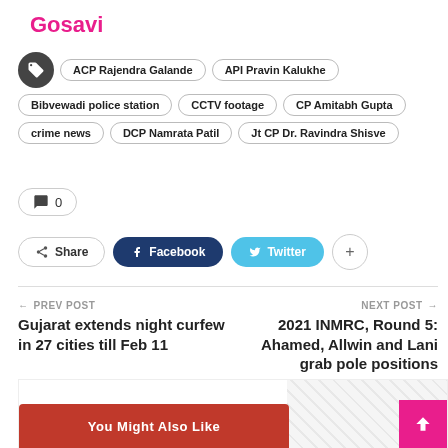Gosavi
ACP Rajendra Galande
API Pravin Kalukhe
Bibvewadi police station
CCTV footage
CP Amitabh Gupta
crime news
DCP Namrata Patil
Jt CP Dr. Ravindra Shisve
0
Share   Facebook   Twitter
← PREV POST
Gujarat extends night curfew in 27 cities till Feb 11
NEXT POST →
2021 INMRC, Round 5: Ahamed, Allwin and Lani grab pole positions
You Might Also Like   All